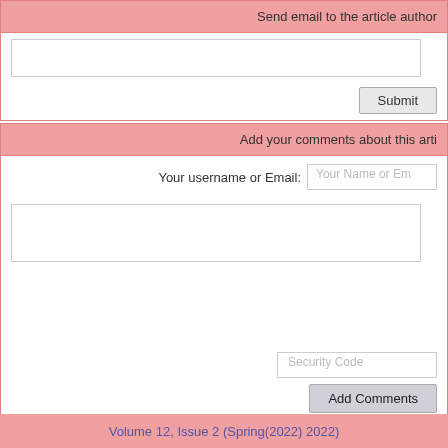Send email to the article author
Submit
Add your comments about this article
Your username or Email: Your Name or Email
Security Code
Add Comments
Rights and permissions
This work is licensed under a Creative Commons Attribution-NonComm
Volume 12, Issue 2 (Spring(2022) 2022)